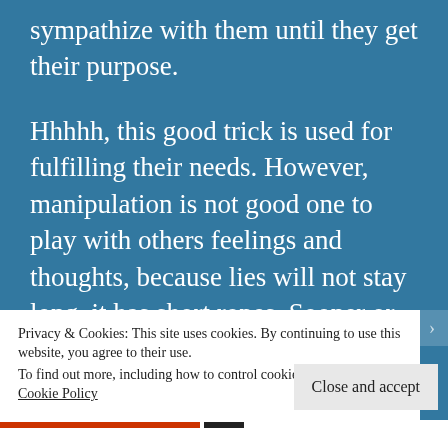sympathize with them until they get their purpose.
Hhhhh, this good trick is used for fulfilling their needs. However, manipulation is not good one to play with others feelings and thoughts, because lies will not stay long, it has short ropes. Sooner or later, it will be discovered, and your truth will appear, and then how sad you will be!
finally, I agree with you, you got what you
Privacy & Cookies: This site uses cookies. By continuing to use this website, you agree to their use.
To find out more, including how to control cookies, see here: Cookie Policy
Close and accept